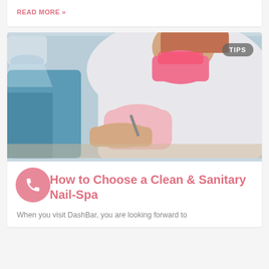READ MORE »
[Figure (photo): A nail technician wearing a pink mask and pink gloves performing a manicure on a client's hand in a salon setting. Professional lighting overhead. Blurred blue chair in background.]
How to Choose a Clean & Sanitary Nail-Spa
When you visit DashBar, you are looking forward to